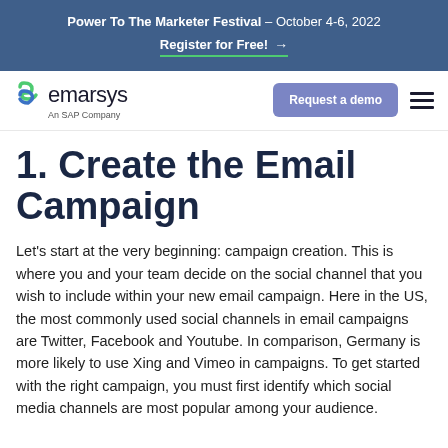Power To The Marketer Festival – October 4-6, 2022
Register for Free! →
[Figure (logo): Emarsys logo with green S-shaped icon and text 'emarsys An SAP Company']
1. Create the Email Campaign
Let's start at the very beginning: campaign creation. This is where you and your team decide on the social channel that you wish to include within your new email campaign. Here in the US, the most commonly used social channels in email campaigns are Twitter, Facebook and Youtube. In comparison, Germany is more likely to use Xing and Vimeo in campaigns. To get started with the right campaign, you must first identify which social media channels are most popular among your audience.